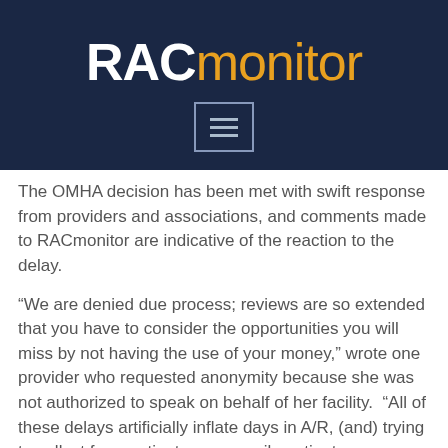[Figure (logo): RACmonitor logo with RAC in white bold and monitor in orange on dark navy background, with a hamburger menu button below]
The OMHA decision has been met with swift response from providers and associations, and comments made to RACmonitor are indicative of the reaction to the delay.
“We are denied due process; reviews are so extended that you have to consider the opportunities you will miss by not having the use of your money,” wrote one provider who requested anonymity because she was not authorized to speak on behalf of her facility.  “All of these delays artificially inflate days in A/R, (and) trying to collect from patients or reconcile patient accountability gets harder and harder as time passes. I have already had calls from families of patient(s) who have died, and now CMS is not going to cover the time they were sick four years ago? The whole thing